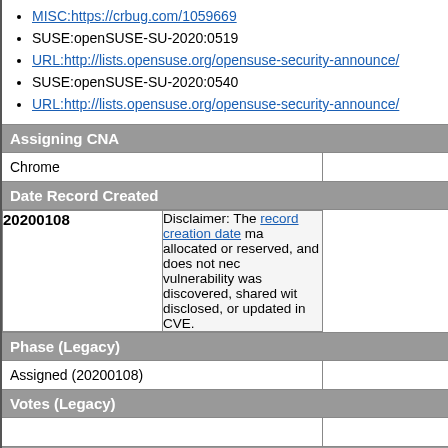MISC:https://crbug.com/1059669
SUSE:openSUSE-SU-2020:0519
URL:http://lists.opensuse.org/opensuse-security-announce/
SUSE:openSUSE-SU-2020:0540
URL:http://lists.opensuse.org/opensuse-security-announce/
Assigning CNA
Chrome
Date Record Created
20200108
Disclaimer: The record creation date may indicate when the CVE ID was allocated or reserved, and does not necessarily indicate when this vulnerability was discovered, shared with the affected vendor, publicly disclosed, or updated in CVE.
Phase (Legacy)
Assigned (20200108)
Votes (Legacy)
Comments (Legacy)
Proposed (Legacy)